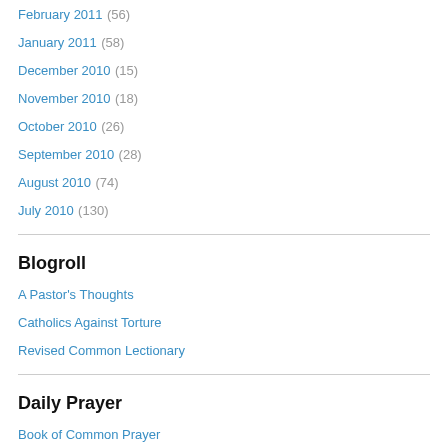February 2011 (56)
January 2011 (58)
December 2010 (15)
November 2010 (18)
October 2010 (26)
September 2010 (28)
August 2010 (74)
July 2010 (130)
Blogroll
A Pastor's Thoughts
Catholics Against Torture
Revised Common Lectionary
Daily Prayer
Book of Common Prayer